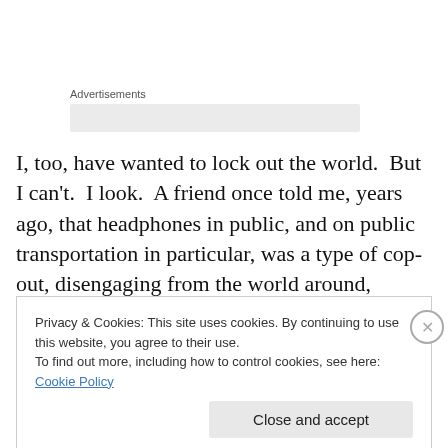Advertisements
I, too, have wanted to lock out the world.  But I can't.  I look.  A friend once told me, years ago, that headphones in public, and on public transportation in particular, was a type of cop-out, disengaging from the world around, ignoring human beings and our present state of being.  I have thought this week about the little boy from my
Privacy & Cookies: This site uses cookies. By continuing to use this website, you agree to their use.
To find out more, including how to control cookies, see here: Cookie Policy
Close and accept